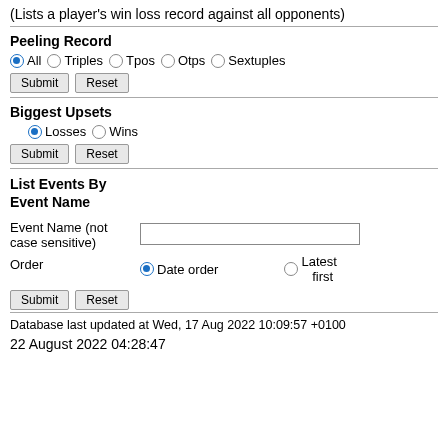(Lists a player's win loss record against all opponents)
Peeling Record
All  Triples  Tpos  Otps  Sextuples (radio buttons: All selected)
Submit  Reset (buttons)
Biggest Upsets
Losses  Wins (radio buttons: Losses selected)
Submit  Reset (buttons)
List Events By Event Name
Event Name (not case sensitive)  [text input]
Order  Date order (selected)  Latest first
Submit  Reset (buttons)
Database last updated at Wed, 17 Aug 2022 10:09:57 +0100
22 August 2022 04:28:47